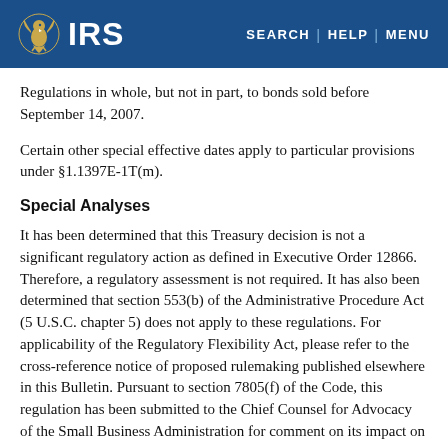IRS | SEARCH | HELP | MENU
Regulations in whole, but not in part, to bonds sold before September 14, 2007.
Certain other special effective dates apply to particular provisions under §1.1397E-1T(m).
Special Analyses
It has been determined that this Treasury decision is not a significant regulatory action as defined in Executive Order 12866. Therefore, a regulatory assessment is not required. It has also been determined that section 553(b) of the Administrative Procedure Act (5 U.S.C. chapter 5) does not apply to these regulations. For applicability of the Regulatory Flexibility Act, please refer to the cross-reference notice of proposed rulemaking published elsewhere in this Bulletin. Pursuant to section 7805(f) of the Code, this regulation has been submitted to the Chief Counsel for Advocacy of the Small Business Administration for comment on its impact on small business.